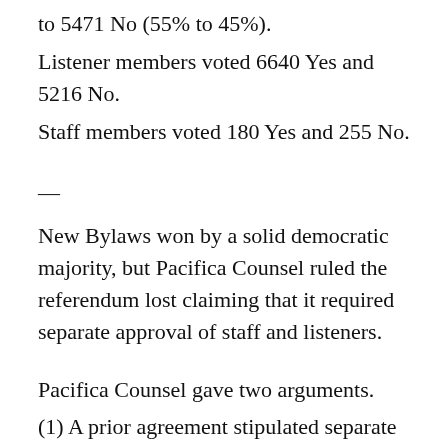to 5471 No (55% to 45%).
Listener members voted 6640 Yes and 5216 No.
Staff members voted 180 Yes and 255 No.
—
New Bylaws won by a solid democratic majority, but Pacifica Counsel ruled the referendum lost claiming that it required separate approval of staff and listeners.
Pacifica Counsel gave two arguments.
(1) A prior agreement stipulated separate approval of staff and listeners.